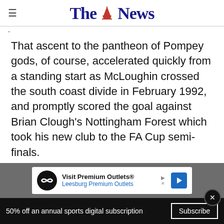The News
-
That ascent to the pantheon of Pompey gods, of course, accelerated quickly from a standing start as McLoughin crossed the south coast divide in February 1992, and promptly scored the goal against Brian Clough’s Nottingham Forest which took his new club to the FA Cup semi-finals.
[Figure (other): Advertisement banner: Visit Premium Outlets® - Leesburg Premium Outlets]
50% off an annual sports digital subscription  Subscribe